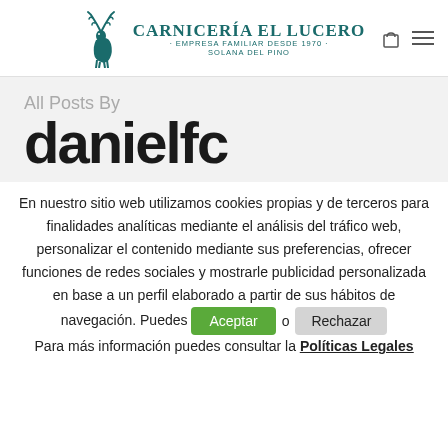CARNICERÍA EL LUCERO · EMPRESA FAMILIAR DESDE 1970 · SOLANA DEL PINO
All Posts By
danielfc
En nuestro sitio web utilizamos cookies propias y de terceros para finalidades analíticas mediante el análisis del tráfico web, personalizar el contenido mediante sus preferencias, ofrecer funciones de redes sociales y mostrarle publicidad personalizada en base a un perfil elaborado a partir de sus hábitos de navegación. Puedes [Aceptar] o [Rechazar] Para más información puedes consultar la Políticas Legales